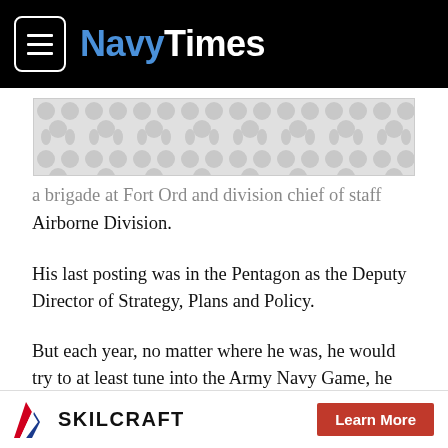NavyTimes
[Figure (other): Advertisement banner placeholder with decorative dot/circle pattern on grey background]
a brigade at Fort Ord and division chief of staff with the 101st Airborne Division.
His last posting was in the Pentagon as the Deputy Director of Strategy, Plans and Policy.
But each year, no matter where he was, he would try to at least tune into the Army Navy Game, he said.
So many games, so many years, during his multiple postings in
SKILCRAFT — Learn More